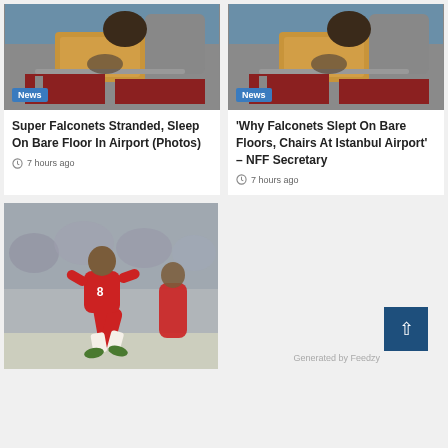[Figure (photo): Aerial/overhead photo showing students or people sleeping on chairs at an airport, wooden tray tables visible]
News
Super Falconets Stranded, Sleep On Bare Floor In Airport (Photos)
7 hours ago
[Figure (photo): Same or similar overhead photo showing people sleeping on chairs at airport]
News
'Why Falconets Slept On Bare Floors, Chairs At Istanbul Airport' – NFF Secretary
7 hours ago
[Figure (photo): Football player in red jersey number 8 running/kicking, teammates in background]
Generated by Feedzy